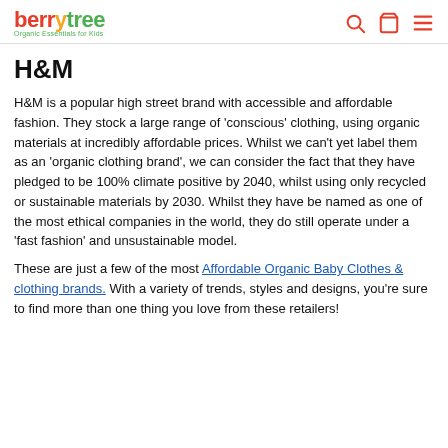berrytree — Organic Essentials for Kids
H&M
H&M is a popular high street brand with accessible and affordable fashion. They stock a large range of 'conscious' clothing, using organic materials at incredibly affordable prices. Whilst we can't yet label them as an 'organic clothing brand', we can consider the fact that they have pledged to be 100% climate positive by 2040, whilst using only recycled or sustainable materials by 2030. Whilst they have be named as one of the most ethical companies in the world, they do still operate under a 'fast fashion' and unsustainable model.
These are just a few of the most Affordable Organic Baby Clothes & clothing brands. With a variety of trends, styles and designs, you're sure to find more than one thing you love from these retailers!